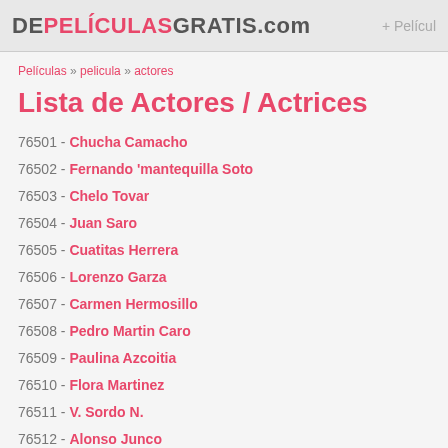DEPELÍCULASGRATIS.com + Pelicul
Películas » pelicula » actores
Lista de Actores / Actrices
76501 - Chucha Camacho
76502 - Fernando 'mantequilla Soto
76503 - Chelo Tovar
76504 - Juan Saro
76505 - Cuatitas Herrera
76506 - Lorenzo Garza
76507 - Carmen Hermosillo
76508 - Pedro Martin Caro
76509 - Paulina Azcoitia
76510 - Flora Martinez
76511 - V. Sordo N.
76512 - Alonso Junco
76513 - Magda Haller